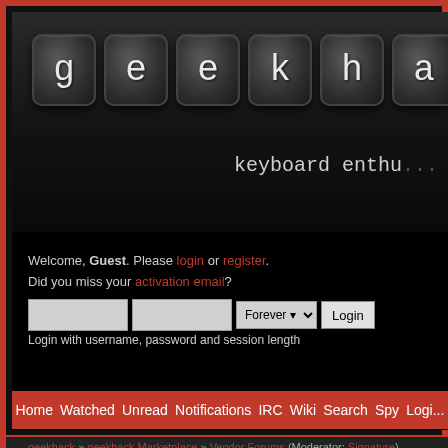[Figure (screenshot): Geekhack forum website header with keyboard keys spelling out 'gekhac' and tagline 'keyboard enthu...']
Welcome, Guest. Please login or register.
Did you miss your activation email?
Login with username, password and session length
Home  Watched  Unread  Notifications  IRC  Wiki  Search  Spy  Login
geekhack » geekhack Marketplace » Vendor Forums (Moderator: Signature)